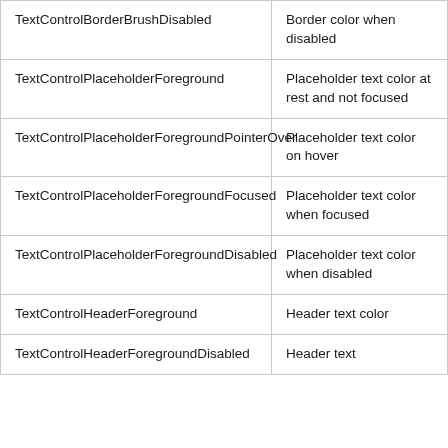| TextControlBorderBrushDisabled | Border color when disabled |
| TextControlPlaceholderForeground | Placeholder text color at rest and not focused |
| TextControlPlaceholderForegroundPointerOver | Placeholder text color on hover |
| TextControlPlaceholderForegroundFocused | Placeholder text color when focused |
| TextControlPlaceholderForegroundDisabled | Placeholder text color when disabled |
| TextControlHeaderForeground | Header text color |
| TextControlHeaderForegroundDisabled | Header text |